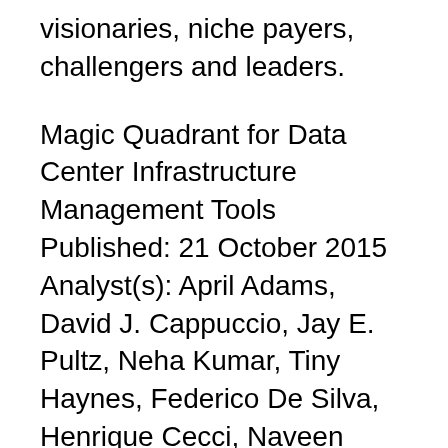visionaries, niche payers, challengers and leaders.
Magic Quadrant for Data Center Infrastructure Management Tools Published: 21 October 2015 Analyst(s): April Adams, David J. Cappuccio, Jay E. Pultz, Neha Kumar, Tiny Haynes, Federico De Silva, Henrique Cecci, Naveen Mishra DCIM tools facilitate continuous reoptimization of data center power, cooling and physical space and can be a powerful enabler of capex and opex savings. Data вђ¦ BMC a Leader in Gartner Magic Quadrant for ITSM for 4th Consecutive Year On Thursday, August 10, Gartner released its 2017 вђњMagic Quadrant for IT